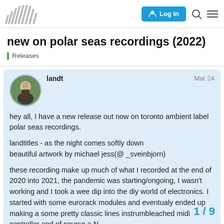/////// Log In [search] [menu]
new on polar seas recordings (2022)
Releases
landt  Mar 24
hey all, I have a new release out now on toronto ambient label polar seas recordings.

landtitles - as the night comes softly down
beautiful artwork by michael jess(@ _sveinbjorn)

these recording make up much of what I recorded at the end of 2020 into 2021, the pandemic was starting/ongoing, I wasn't working and I took a wee dip into the diy world of electronics. I started with some eurorack modules and eventualy ended up making a some pretty classic lines instrum bleached midi controller and of course a N
1 / 9